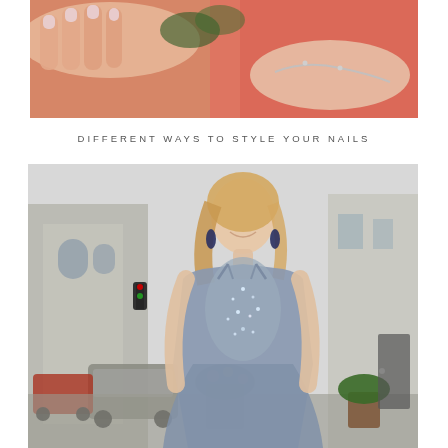[Figure (photo): Close-up photo of hands with nails, wearing a red dress and a bracelet on the wrist]
DIFFERENT WAYS TO STYLE YOUR NAILS
[Figure (photo): Young blonde woman smiling, wearing a blue/grey beaded halter prom dress with spaghetti straps, standing on a city street with cars and buildings in the background]